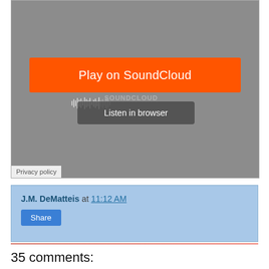[Figure (screenshot): SoundCloud embedded audio player with gray background, orange 'Play on SoundCloud' button, waveform strip, and 'Listen in browser' button. Privacy policy label in bottom-left corner.]
J.M. DeMatteis at 11:12 AM
Share
35 comments: